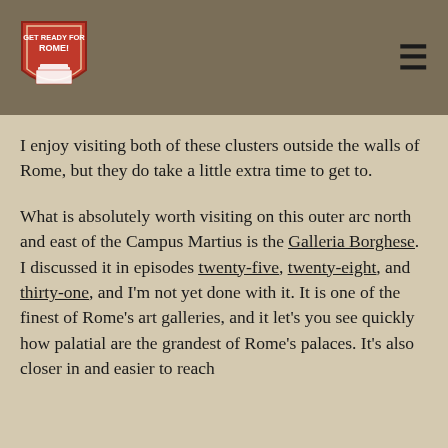[Figure (logo): Shield-shaped logo for 'Get Ready for Rome!' website, orange/red shield with white text and Colosseum illustration]
I enjoy visiting both of these clusters outside the walls of Rome, but they do take a little extra time to get to.
What is absolutely worth visiting on this outer arc north and east of the Campus Martius is the Galleria Borghese. I discussed it in episodes twenty-five, twenty-eight, and thirty-one, and I'm not yet done with it. It is one of the finest of Rome's art galleries, and it let's you see quickly how palatial are the grandest of Rome's palaces. It's also closer in and easier to reach